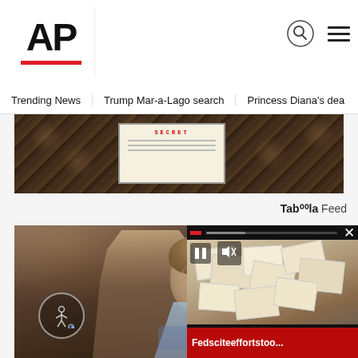AP
Trending News   Trump Mar-a-Lago search   Princess Diana's dea
[Figure (photo): Photo of classified documents on a carpet/patterned surface, showing a document with 'SECRET' marking]
Tab⁰⁰la Feed
[Figure (photo): Photo of a woman with glasses holding her hand to her head, appearing stressed, sitting at a desk]
[Figure (screenshot): Video overlay showing document pile with title 'Fedsciteeffortstoo...' and media player controls]